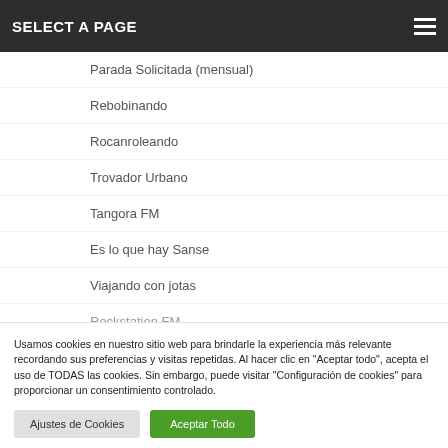SELECT A PAGE
Parada Solicitada (mensual)
Rebobinando
Rocanroleando
Trovador Urbano
Tangora FM
Es lo que hay Sanse
Viajando con jotas
Rockstation FM
Usamos cookies en nuestro sitio web para brindarle la experiencia más relevante recordando sus preferencias y visitas repetidas. Al hacer clic en "Aceptar todo", acepta el uso de TODAS las cookies. Sin embargo, puede visitar "Configuración de cookies" para proporcionar un consentimiento controlado.
Ajustes de Cookies | Aceptar Todo